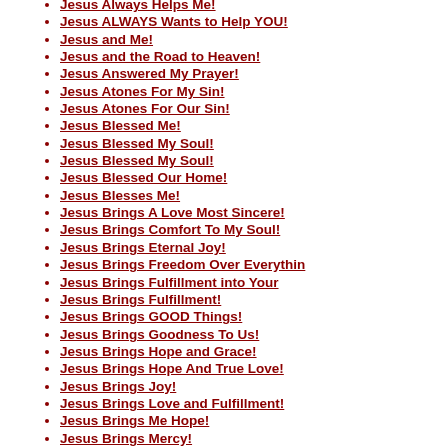Jesus Always Helps Me!
Jesus ALWAYS Wants to Help YOU!
Jesus and Me!
Jesus and the Road to Heaven!
Jesus Answered My Prayer!
Jesus Atones For My Sin!
Jesus Atones For Our Sin!
Jesus Blessed Me!
Jesus Blessed My Soul!
Jesus Blessed My Soul!
Jesus Blessed Our Home!
Jesus Blesses Me!
Jesus Brings A Love Most Sincere!
Jesus Brings Comfort To My Soul!
Jesus Brings Eternal Joy!
Jesus Brings Freedom Over Everythin
Jesus Brings Fulfillment into Your
Jesus Brings Fulfillment!
Jesus Brings GOOD Things!
Jesus Brings Goodness To Us!
Jesus Brings Hope and Grace!
Jesus Brings Hope And True Love!
Jesus Brings Joy!
Jesus Brings Love and Fulfillment!
Jesus Brings Me Hope!
Jesus Brings Mercy!
Jesus Brings Mercy!
Jesus Brings More Than I Expected!
Jesus Brings Real Hope!
Jesus Brings Sweet Love and Eternal
Jesus Brings Sweetness To Life!